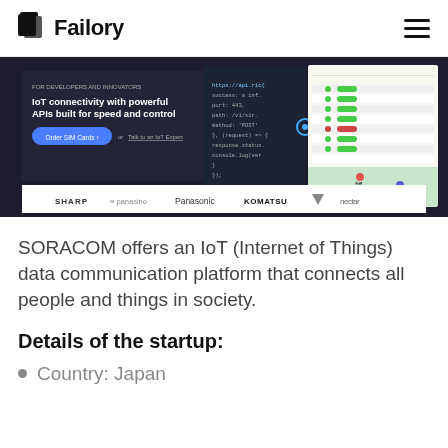Failory
[Figure (screenshot): SORACOM website screenshot showing IoT connectivity platform with code editor, dashboard, and logos of SHARP, Panasonic, KOMATSU, nectar and other partners]
SORACOM offers an IoT (Internet of Things) data communication platform that connects all people and things in society.
Details of the startup:
Country: Japan